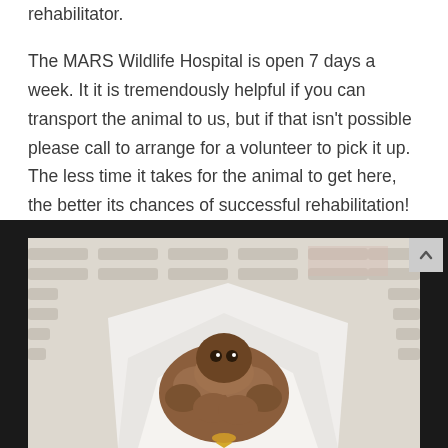rehabilitator.
The MARS Wildlife Hospital is open 7 days a week. It it is tremendously helpful if you can transport the animal to us, but if that isn't possible please call to arrange for a volunteer to pick it up. The less time it takes for the animal to get here, the better its chances of successful rehabilitation! Remember it is illegal to keep wildlife in your possession for more than 24 hours.
[Figure (photo): A small bird (appears to be a fledgling) wrapped in white paper towels, sitting in a white plastic wicker basket. The bird has brownish-orange fluffy feathers and a yellow beak visible at the bottom. The image is cropped showing mainly the basket and bird from above.]